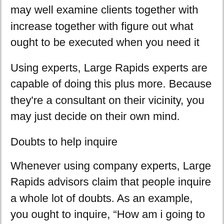may well examine clients together with increase together with figure out what ought to be executed when you need it
Using experts, Large Rapids experts are capable of doing this plus more. Because they're a consultant on their vicinity, you may just decide on their own mind.
Doubts to help inquire
Whenever using company experts, Large Rapids advisors claim that people inquire a whole lot of doubts. As an example, you ought to inquire, “How am i going to enhance the effectiveness with my own people? inch This can be a superior issue considering a whole lot of people usually tend to end up unimpressed with the work opportunities. Some sort of coordinator may well examine ones people together with explain precisely what it can be you decide to do so as to meet these together with create them wish to succeed trickier. Additionally you can